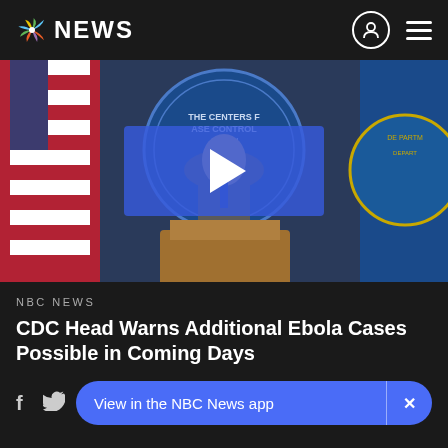NBC NEWS
[Figure (screenshot): CDC official in a suit speaking at a podium with the CDC seal (Centers for Disease Control and Prevention, Atlanta Georgia) and an American flag visible in the background. A blue semi-transparent play button overlay is centered on the image.]
NBC NEWS
CDC Head Warns Additional Ebola Cases Possible in Coming Days
View in the NBC News app